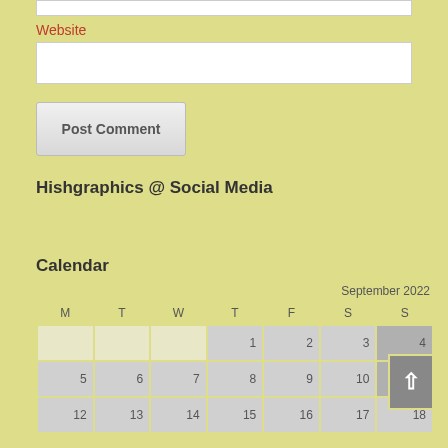Website
Post Comment
Hishgraphics @ Social Media
Calendar
| M | T | W | T | F | S | S |
| --- | --- | --- | --- | --- | --- | --- |
|  |  |  | 1 | 2 | 3 | 4 |
| 5 | 6 | 7 | 8 | 9 | 10 | 11 |
| 12 | 13 | 14 | 15 | 16 | 17 | 18 |